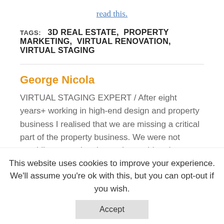read this.
TAGS:  3D REAL ESTATE,  PROPERTY MARKETING,  VIRTUAL RENOVATION,  VIRTUAL STAGING
George Nicola
VIRTUAL STAGING EXPERT / After eight years+ working in high-end design and property business I realised that we are missing a critical part of the property business. We were not providing enough value to these old and
This website uses cookies to improve your experience. We'll assume you're ok with this, but you can opt-out if you wish.
Accept